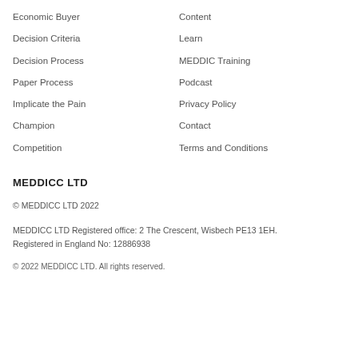Economic Buyer
Content
Decision Criteria
Learn
Decision Process
MEDDIC Training
Paper Process
Podcast
Implicate the Pain
Privacy Policy
Champion
Contact
Competition
Terms and Conditions
MEDDICC LTD
© MEDDICC LTD 2022
MEDDICC LTD Registered office: 2 The Crescent, Wisbech PE13 1EH. Registered in England No: 12886938
© 2022 MEDDICC LTD. All rights reserved.